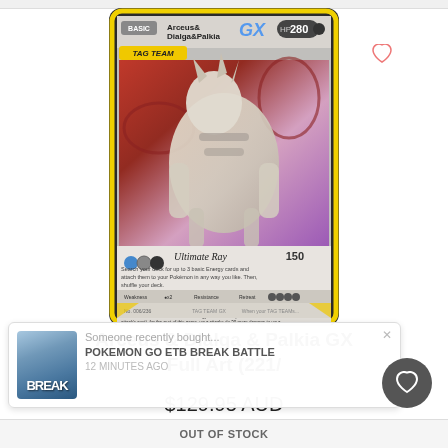[Figure (photo): Pokemon Trading Card: Arceus & Dialga & Palkia GX Tag Team card with yellow border, HP 280, showing Ultimate Ray and Altered Creation GX attacks, full art illustration]
Someone recently bought...
POKEMON GO ETB BREAK BATTLE
12 MINUTES AGO
Arceus & Dialga & Palkia GX Full Art (221/
$129.95 AUD
OUT OF STOCK